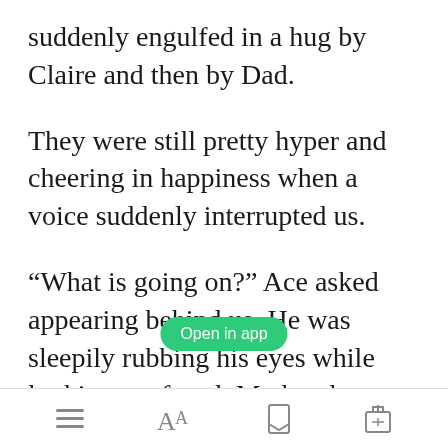suddenly engulfed in a hug by Claire and then by Dad.
They were still pretty hyper and cheering in happiness when a voice suddenly interrupted us.
“What is going on?” Ace asked appearing behind us. He was sleepily rubbing his eyes while looking confused. My hand
Open in app